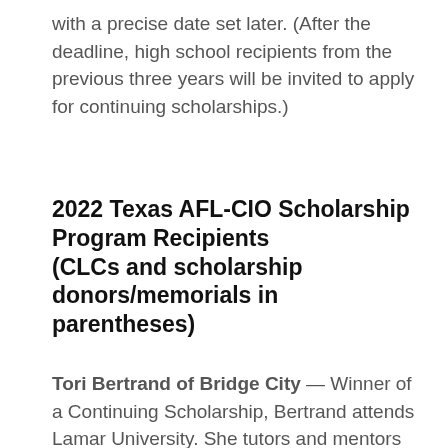with a precise date set later. (After the deadline, high school recipients from the previous three years will be invited to apply for continuing scholarships.)
2022 Texas AFL-CIO Scholarship Program Recipients (CLCs and scholarship donors/memorials in parentheses)
Tori Bertrand of Bridge City — Winner of a Continuing Scholarship, Bertrand attends Lamar University. She tutors and mentors first-year